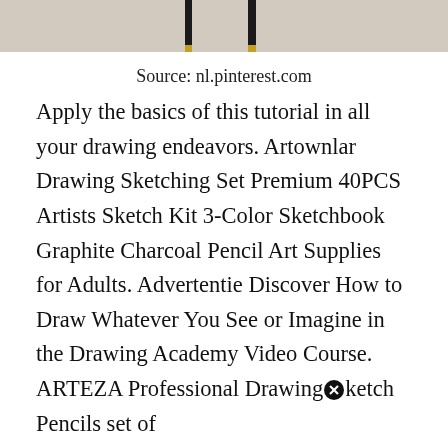[Figure (photo): Top portion of a photograph showing pencils or drawing tools, partially cropped at the top of the page.]
Source: nl.pinterest.com
Apply the basics of this tutorial in all your drawing endeavors. Artownlar Drawing Sketching Set Premium 40PCS Artists Sketch Kit 3-Color Sketchbook Graphite Charcoal Pencil Art Supplies for Adults. Advertentie Discover How to Draw Whatever You See or Imagine in the Drawing Academy Video Course. ARTEZA Professional Drawingⓧketch Pencils set of